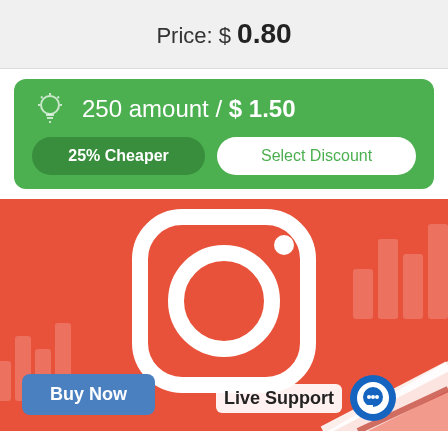Price: $ 0.80
250 amount / $ 1.50
25% Cheaper
Select Discount
[Figure (illustration): Instagram logo (white camera icon on orange/red background) with decorative bar watermarks and diagonal white swoosh in bottom-right corner. Buy Now button in blue bottom-left. Live Support label with chat icon bottom-right.]
Buy Now
Live Support